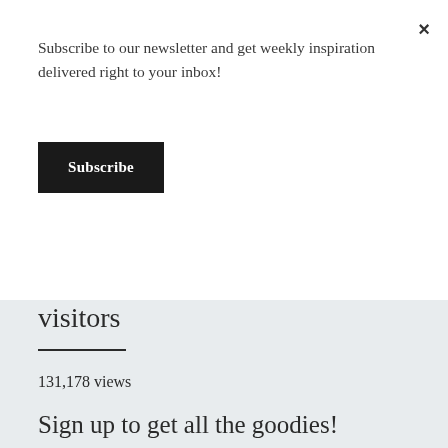Subscribe to our newsletter and get weekly inspiration delivered right to your inbox!
Subscribe
visitors
131,178 views
Sign up to get all the goodies!
Homesteading tips, gardening insights, recipes and so much more sent automatically right to your inbox.